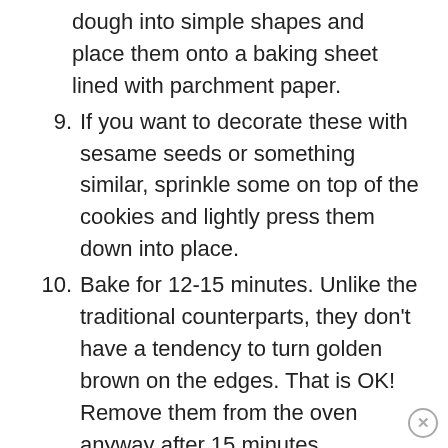dough into simple shapes and place them onto a baking sheet lined with parchment paper.
9. If you want to decorate these with sesame seeds or something similar, sprinkle some on top of the cookies and lightly press them down into place.
10. Bake for 12-15 minutes. Unlike the traditional counterparts, they don't have a tendency to turn golden brown on the edges. That is OK! Remove them from the oven anyway after 15 minutes.
11. Allow them to fully cool before serving them. You can sprinkle them with